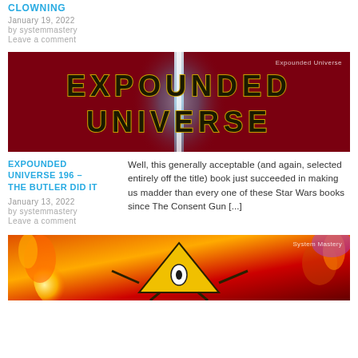CLOWNING
January 19, 2022
by systemmastery
Leave a comment
[Figure (illustration): Banner image for 'Expounded Universe' with bold gold outlined text on dark red background with a glowing light saber beam in the center. Watermark reads 'Expounded Universe'.]
EXPOUNDED UNIVERSE 196 – THE BUTLER DID IT
Well, this generally acceptable (and again, selected entirely off the title) book just succeeded in making us madder than every one of these Star Wars books since The Consent Gun [...]
January 13, 2022
by systemmastery
Leave a comment
[Figure (illustration): Colorful animated-style illustration with a pyramid character with an eye, surrounded by fire and colorful background. Watermark reads 'System Mastery'.]